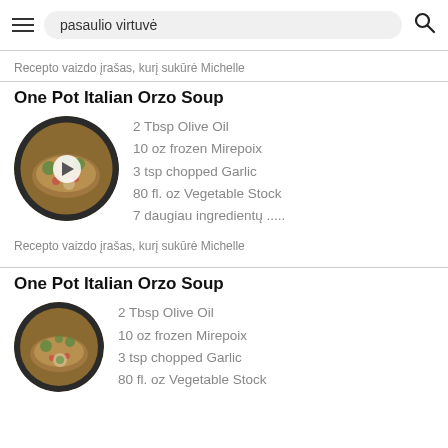pasaulio virtuvė
Recepto vaizdo įrašas, kurį sukūrė Michelle
One Pot Italian Orzo Soup
[Figure (photo): Circular image of Italian Orzo Soup in a dark bowl with a play button overlay]
2 Tbsp Olive Oil
10 oz frozen Mirepoix
3 tsp chopped Garlic
80 fl. oz Vegetable Stock
7 daugiau ingredientų .....
Recepto vaizdo įrašas, kurį sukūrė Michelle
One Pot Italian Orzo Soup
[Figure (photo): Circular image of Italian Orzo Soup in a dark bowl]
2 Tbsp Olive Oil
10 oz frozen Mirepoix
3 tsp chopped Garlic
80 fl. oz Vegetable Stock